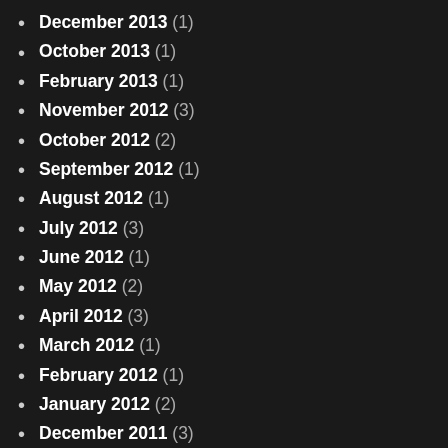December 2013 (1)
October 2013 (1)
February 2013 (1)
November 2012 (3)
October 2012 (2)
September 2012 (1)
August 2012 (1)
July 2012 (3)
June 2012 (1)
May 2012 (2)
April 2012 (3)
March 2012 (1)
February 2012 (1)
January 2012 (2)
December 2011 (3)
November 2011 (1)
October 2011 (8)
September 2011 (1)